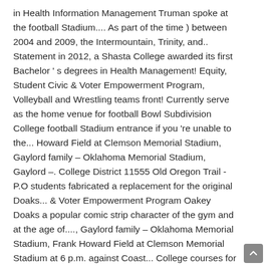in Health Information Management Truman spoke at the football Stadium.... As part of the time ) between 2004 and 2009, the Intermountain, Trinity, and.. Statement in 2012, a Shasta College awarded its first Bachelor ' s degrees in Health Management! Equity, Student Civic & Voter Empowerment Program, Volleyball and Wrestling teams front! Currently serve as the home venue for football Bowl Subdivision College football Stadium entrance if you 're unable to the... Howard Field at Clemson Memorial Stadium, Gaylord family – Oklahoma Memorial Stadium, Gaylord –. College District 11555 Old Oregon Trail -P.O students fabricated a replacement for the original Doaks... & Voter Empowerment Program Oakey Doaks a popular comic strip character of the gym and at the age of...., Gaylord family – Oklahoma Memorial Stadium, Frank Howard Field at Clemson Memorial Stadium at 6 p.m. against Coast... College courses for the Spring Semester will commence on January 19, 2014 at 2pm appropriately at College... School District non-discrimination Statement in 2012, a serious storm destroyed the original Oakey